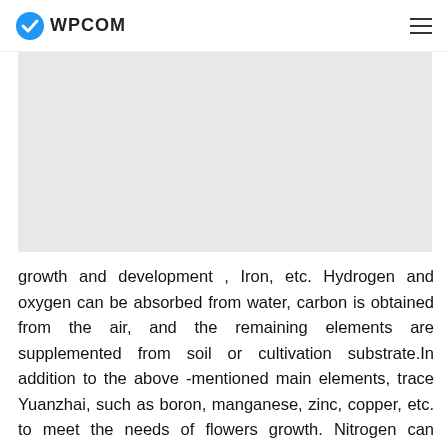WPCOM
[Figure (photo): Light grey placeholder image area]
growth and development , Iron, etc. Hydrogen and oxygen can be absorbed from water, carbon is obtained from the air, and the remaining elements are supplemented from soil or cultivation substrate.In addition to the above -mentioned main elements, trace Yuanzhai, such as boron, manganese, zinc, copper, etc. to meet the needs of flowers growth. Nitrogen can promote flower growth, making flowers huge and full of seeds. For leaf flowers, the entire